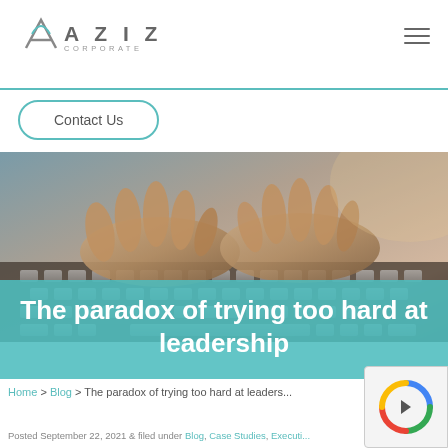Aziz Corporate
Contact Us
[Figure (photo): Hands typing on a laptop keyboard, close-up, warm lighting]
The paradox of trying too hard at leadership
Home > Blog > The paradox of trying too hard at leaders...
Posted September 22, 2021 & filed under Blog, Case Studies, Executi...